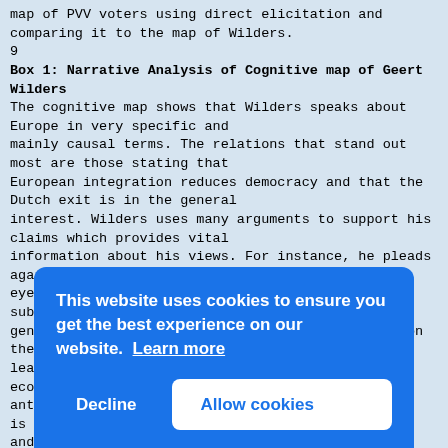map of PVV voters using direct elicitation and comparing it to the map of Wilders.
9
Box 1: Narrative Analysis of Cognitive map of Geert Wilders
The cognitive map shows that Wilders speaks about Europe in very specific and mainly causal terms. The relations that stand out most are those stating that European integration reduces democracy and that the Dutch exit is in the general interest. Wilders uses many arguments to support his claims which provides vital information about his views. For instance, he pleads against the Euro because, in his eyes, it leads to the instatement of European subsidies, which do not serve the general interest. He further supports his stance on the Euro by stating that the Euro leads to more poverty and unemployment and limits economic growth. His general anti[...] is t[...] and forc[...] cont[...] a fu[...] in t[...] stau[...] Euro[...] gene[...] connects European federalisation to a loss in Dutch id...
This website uses cookies to ensure you get the best experience on our website. Learn more
Decline
Allow cookies